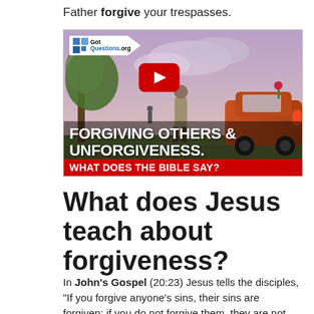Father forgive your trespasses.
[Figure (screenshot): YouTube video thumbnail from GotQuestions.org showing a person standing near a vintage car with text 'FORGIVING OTHERS & UNFORGIVENESS. WHAT DOES THE BIBLE SAY?' with a YouTube play button overlay.]
What does Jesus teach about forgiveness?
In John's Gospel (20:23) Jesus tells the disciples, “If you forgive anyone’s sins, their sins are forgiven; if you do not forgive them, they are not forgiven.”